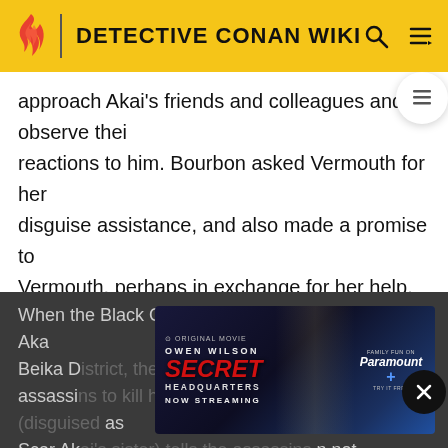DETECTIVE CONAN WIKI
approach Akai's friends and colleagues and observe their reactions to him. Bourbon asked Vermouth for her disguise assistance, and also made a promise to Vermouth, perhaps in exchange for her help. The Boss then approved their plan out of an abundance of caution, however, Vermouth and Bourbon failed to tell Gin and the other members about it. Vermouth then disguises Bourbon as "Scar Akai" with a large scar on his face.
When the Black Organization reportedly spots Scar Akai in Beika District, they send Chianti and Korn as assassins to kill him. However, Vermouth (disguised as Scar Akai's sister) tells the assassins not to shoot Scar Akai since he is Bourbon in disguise. When
[Figure (screenshot): Advertisement for 'Secret Headquarters' Original Movie featuring Owen Wilson, Now Streaming on Paramount+]